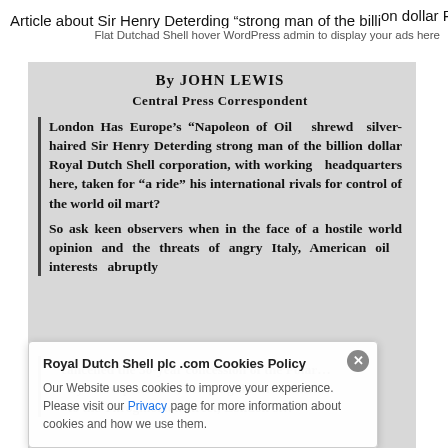Article about Sir Henry Deterding “strong man of the billion dollar Royal Dutch Shell corporation”…
By JOHN LEWIS
Central Press Correspondent
London Has Europe’s “Napoleon of Oil shrewd silver-haired Sir Henry Deterding strong man of the billion dollar Royal Dutch Shell corporation, with working headquarters here, taken for “a ride” his international rivals for control of the world oil mart?
So ask keen observers when in the face of a hostile world opinion and the threats of angry Italy, American oil interests abruptly cancelled the 50-year concession of...
Royal Dutch Shell plc .com Cookies Policy
Our Website uses cookies to improve your experience. Please visit our Privacy page for more information about cookies and how we use them.